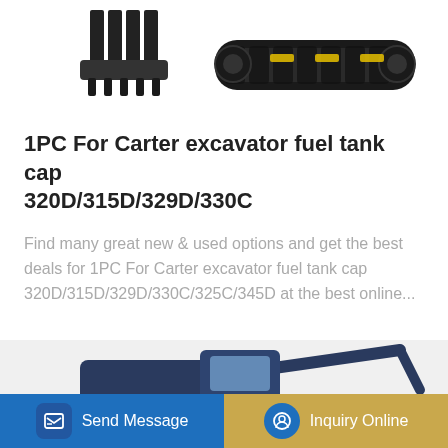[Figure (photo): Partial view of a dark/black excavator undercarriage and bucket attachment against a white background]
1PC For Carter excavator fuel tank cap 320D/315D/329D/330C
Find many great new & used options and get the best deals for 1PC For Carter excavator fuel tank cap 320D/315D/329D/330C/325C/345D at the best online...
Learn More
[Figure (photo): Hyundai excavator (dark blue/navy) with boom arm visible, partially cut off at the bottom of the page]
Send Message   Inquiry Online